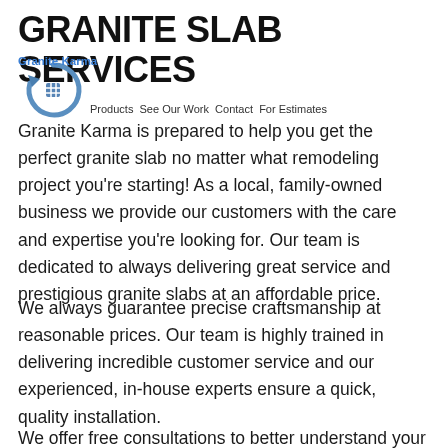GRANITE SLAB SERVICES
[Figure (logo): Granite Karma logo: circular arrow with a grid icon, blue and grey tones]
Products See Our Work Contact For Estimates
Granite Karma is prepared to help you get the perfect granite slab no matter what remodeling project you're starting! As a local, family-owned business we provide our customers with the care and expertise you're looking for. Our team is dedicated to always delivering great service and prestigious granite slabs at an affordable price.
We always guarantee precise craftsmanship at reasonable prices. Our team is highly trained in delivering incredible customer service and our experienced, in-house experts ensure a quick, quality installation.
We offer free consultations to better understand your